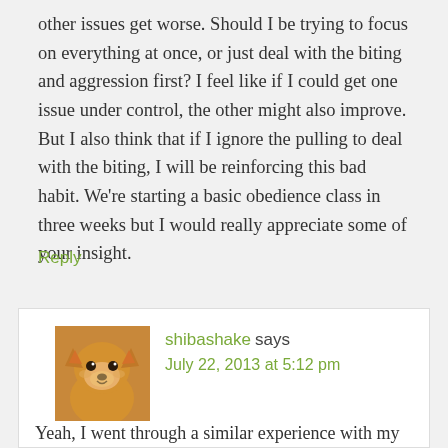other issues get worse. Should I be trying to focus on everything at once, or just deal with the biting and aggression first? I feel like if I could get one issue under control, the other might also improve. But I also think that if I ignore the pulling to deal with the biting, I will be reinforcing this bad habit. We're starting a basic obedience class in three weeks but I would really appreciate some of your insight.
Reply
shibashake says
July 22, 2013 at 5:12 pm
Yeah, I went through a similar experience with my Shiba Inu (Sephy). He started leash biting out of frustration,